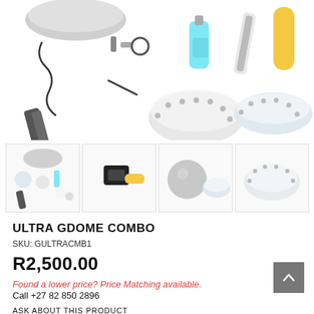[Figure (photo): Product photo showing Ultra Gdome Combo kit components: dome lens port, hardware (bolts, o-ring, wrench), blue liquid bottle, camera strap/wrist leash, yellow float handle, two clear dome port lenses, and branded wrist strap with Gdome logo.]
[Figure (photo): Four thumbnail product photos: 1) All kit components laid out, 2) GoPro camera on yellow handle mount, 3) Clear dome ball and flat lens port, 4) Additional angle of dome components.]
ULTRA GDOME COMBO
SKU: GULTRACMB1
R2,500.00
Found a lower price? Price Matching available.
Call +27 82 850 2896
ASK ABOUT THIS PRODUCT